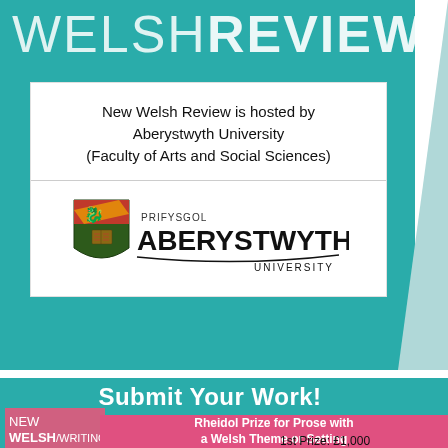WELSHREVIEW
New Welsh Review is hosted by Aberystwyth University (Faculty of Arts and Social Sciences)
[Figure (logo): Aberystwyth University logo with shield crest and text PRIFYSGOL ABERYSTWYTH UNIVERSITY]
Submit Your Work!
Rheidol Prize for Prose with a Welsh Theme or Setting
NEW WELSH WRITING
1st Prize: £1,000